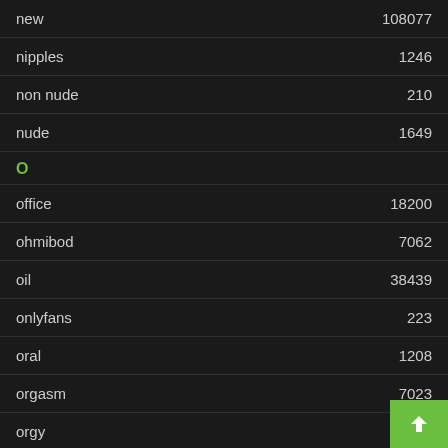new 108077
nipples 1246
non nude 210
nude 1649
O
office 18200
ohmibod 7062
oil 38439
onlyfans 223
oral 1208
orgasm 7023
orgy 71
outdoor 1313
P
panties